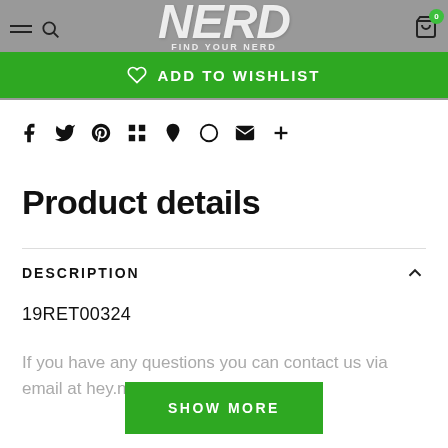[Figure (screenshot): E-commerce product page screenshot showing a NERD store header with green 'ADD TO WISHLIST' button, social sharing icons (Facebook, Twitter, Pinterest, Google+, Fancy, Loveit, Email, More), a 'Product details' section heading, a horizontal divider, a 'DESCRIPTION' collapsible section showing product code '19RET00324', partial description text 'If you have any questions you can contact us via email at hey@nerd.no.se', and a green 'SHOW MORE' button at the bottom.]